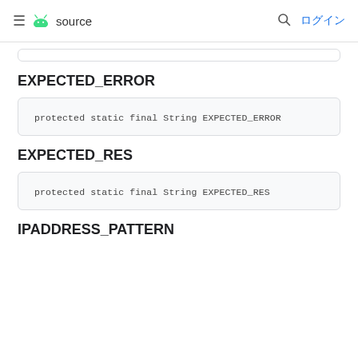≡ source  🔍 ログイン
EXPECTED_ERROR
protected static final String EXPECTED_ERROR
EXPECTED_RES
protected static final String EXPECTED_RES
IPADDRESS_PATTERN